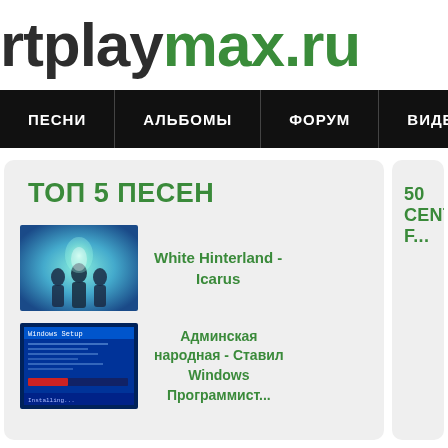rtplaymax.ru
ПЕСНИ | АЛЬБОМЫ | ФОРУМ | ВИДЕО
ТОП 5 ПЕСЕН
[Figure (photo): Thumbnail image with blue-green ethereal glow, silhouette figures]
White Hinterland - Icarus
[Figure (screenshot): Thumbnail of a Windows-style blue computer screen interface]
Админская народная - Ставил Windows Программист...
50 CENT F...